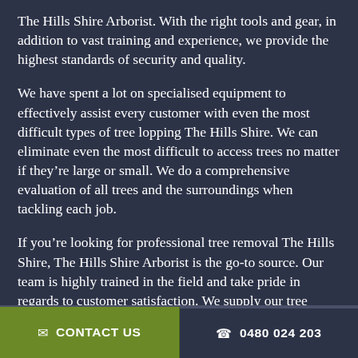The Hills Shire Arborist. With the right tools and gear, in addition to vast training and experience, we provide the highest standards of security and quality.
We have spent a lot on specialised equipment to effectively assist every customer with even the most difficult types of tree lopping The Hills Shire. We can eliminate even the most difficult to access trees no matter if they're large or small. We do a comprehensive evaluation of all trees and the surroundings when tackling each job.
If you're looking for professional tree removal The Hills Shire, The Hills Shire Arborist is the go-to source. Our team is highly trained in the field and take pride in regards to customer satisfaction. We supply our tree removal
✉ CONTACT US   ☎ 0480 024 203